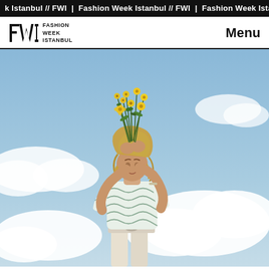k Istanbul // FWI  |  Fashion Week Istanbul // FWI  |  Fashion Week Istani
[Figure (logo): Fashion Week Istanbul FWI logo with stylized FWI letters and text]
Menu
[Figure (photo): A person with blonde hair stands outdoors holding a bunch of yellow wildflowers raised above their head against a blue cloudy sky. They wear a white and green patterned short-sleeve top and cream-colored pants.]